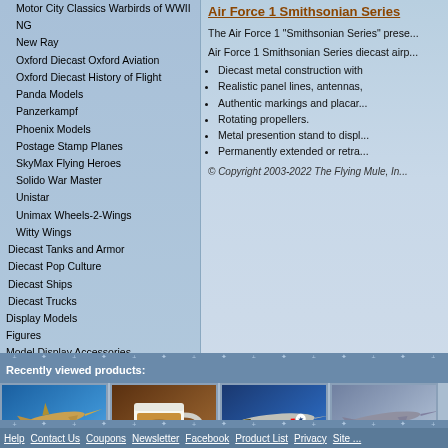Motor City Classics Warbirds of WWII
NG
New Ray
Oxford Diecast Oxford Aviation
Oxford Diecast History of Flight
Panda Models
Panzerkampf
Phoenix Models
Postage Stamp Planes
SkyMax Flying Heroes
Solido War Master
Unistar
Unimax Wheels-2-Wings
Witty Wings
Diecast Tanks and Armor
Diecast Pop Culture
Diecast Ships
Diecast Trucks
Display Models
Figures
Model Display Accessories
Air Force 1 Smithsonian Series
The Air Force 1 "Smithsonian Series" prese...
Air Force 1 Smithsonian Series diecast airp...
Diecast metal construction with
Realistic panel lines, antennas,
Authentic markings and placar...
Rotating propellers.
Metal presention stand to displ...
Permanently extended or retra...
© Copyright 2003-2022 The Flying Mule, In...
Recently viewed products:
[Figure (photo): Diecast military jet aircraft model on stand, blue background]
[Figure (photo): Coffee mug with aviation/flying mule themed artwork, brown background]
[Figure (photo): Diecast P-51 Mustang aircraft model with checkered nose, blue background]
[Figure (photo): Diecast jet aircraft model, gray/blue background]
Help  Contact Us  Coupons  Newsletter  Facebook  Product List  Privacy  Site ...